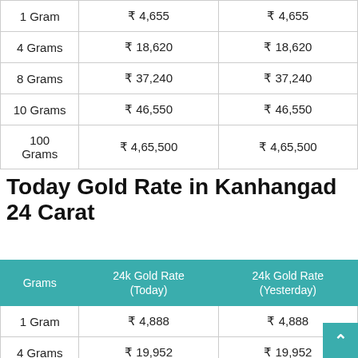| Grams | 22k Gold Rate (Today) | 22k Gold Rate (Yesterday) |
| --- | --- | --- |
| 1 Gram | ₹ 4,655 | ₹ 4,655 |
| 4 Grams | ₹ 18,620 | ₹ 18,620 |
| 8 Grams | ₹ 37,240 | ₹ 37,240 |
| 10 Grams | ₹ 46,550 | ₹ 46,550 |
| 100 Grams | ₹ 4,65,500 | ₹ 4,65,500 |
Today Gold Rate in Kanhangad 24 Carat
| Grams | 24k Gold Rate (Today) | 24k Gold Rate (Yesterday) |
| --- | --- | --- |
| 1 Gram | ₹ 4,888 | ₹ 4,888 |
| 4 Grams | ₹ 19,952 | ₹ 19,952 |